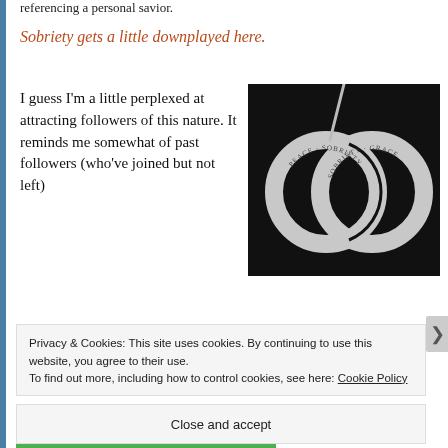referencing a personal savior.
Sobriety gets a little downplayed here.
I guess I'm a little perplexed at attracting followers of this nature. It reminds me somewhat of past followers (who've joined but not left)
[Figure (photo): Black and white photo of two interlocked silver rings/bangles engraved with words including SOBRIETY, PEACE, and GRACE, hanging on a chain.]
Privacy & Cookies: This site uses cookies. By continuing to use this website, you agree to their use.
To find out more, including how to control cookies, see here: Cookie Policy
Close and accept